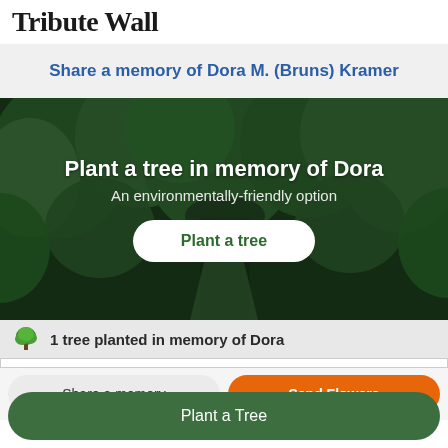Tribute Wall
Share a memory of Dora M. (Bruns) Kramer
[Figure (photo): Forest aerial view with dark green trees, overlaid with text 'Plant a tree in memory of Dora' and subtitle 'An environmentally-friendly option' and a white 'Plant a tree' button]
1 tree planted in memory of Dora
Share a memory
Send Flowers
Plant a Tree